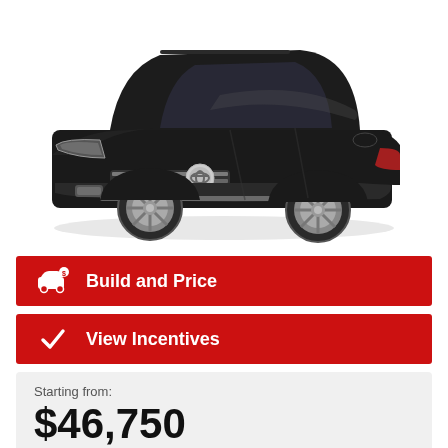[Figure (photo): Black Toyota Highlander Hybrid SUV, three-quarter front view on white background]
Build and Price
View Incentives
Starting from:
$46,750